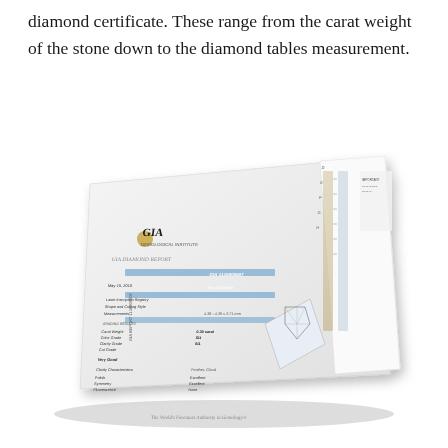diamond certificate. These range from the carat weight of the stone down to the diamond tables measurement.
[Figure (photo): A photograph of a GIA Diamond Grading Report (diamond certificate) shown at an angle on a white background. The report shows GIA logo, report number, date (May 15, 2010), shape and cutting style (Round Brilliant), measurements, carat weight, color grade, clarity grade, cut grade, finish details including Polish (Excellent), Symmetry (Excellent), and Fluorescence (None), clarity characteristics, and a diamond diagram. The right portion shows grading scales for color and clarity.]